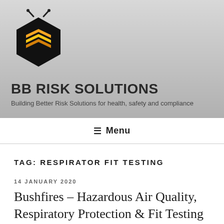[Figure (logo): BB Risk Solutions bee/hexagon logo in black and orange/yellow]
BB RISK SOLUTIONS
Building Better Risk Solutions for health, safety and compliance
≡ Menu
TAG: RESPIRATOR FIT TESTING
14 JANUARY 2020
Bushfires – Hazardous Air Quality, Respiratory Protection & Fit Testing